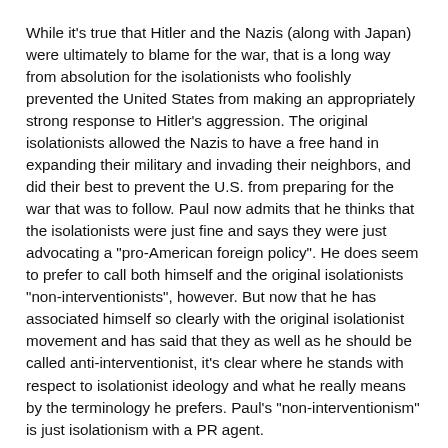While it's true that Hitler and the Nazis (along with Japan) were ultimately to blame for the war, that is a long way from absolution for the isolationists who foolishly prevented the United States from making an appropriately strong response to Hitler's aggression. The original isolationists allowed the Nazis to have a free hand in expanding their military and invading their neighbors, and did their best to prevent the U.S. from preparing for the war that was to follow. Paul now admits that he thinks that the isolationists were just fine and says they were just advocating a "pro-American foreign policy". He does seem to prefer to call both himself and the original isolationists "non-interventionists", however. But now that he has associated himself so clearly with the original isolationist movement and has said that they as well as he should be called anti-interventionist, it's clear where he stands with respect to isolationist ideology and what he really means by the terminology he prefers. Paul's "non-interventionism" is just isolationism with a PR agent.
Paul's brand of isolationist "pro-American foreign policy" would surely be the undoing of the nation it purports to help.